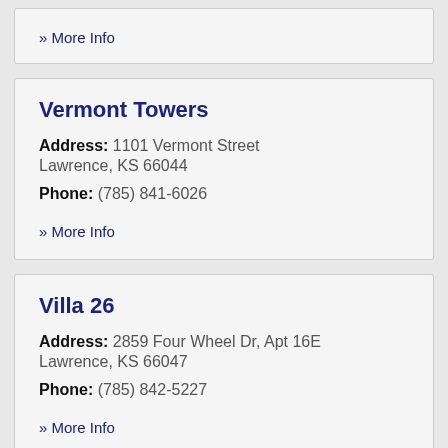» More Info
Vermont Towers
Address: 1101 Vermont Street Lawrence, KS 66044
Phone: (785) 841-6026
» More Info
Villa 26
Address: 2859 Four Wheel Dr, Apt 16E Lawrence, KS 66047
Phone: (785) 842-5227
» More Info